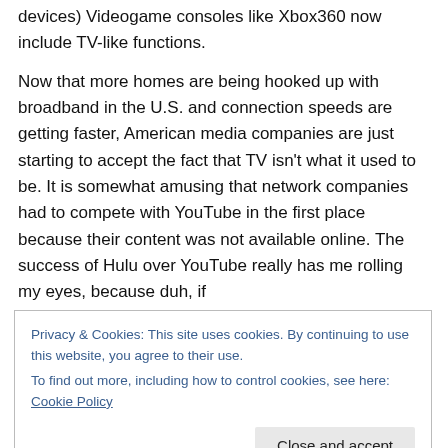devices) Videogame consoles like Xbox360 now include TV-like functions.
Now that more homes are being hooked up with broadband in the U.S. and connection speeds are getting faster, American media companies are just starting to accept the fact that TV isn't what it used to be. It is somewhat amusing that network companies had to compete with YouTube in the first place because their content was not available online. The success of Hulu over YouTube really has me rolling my eyes, because duh, if
Privacy & Cookies: This site uses cookies. By continuing to use this website, you agree to their use.
To find out more, including how to control cookies, see here: Cookie Policy